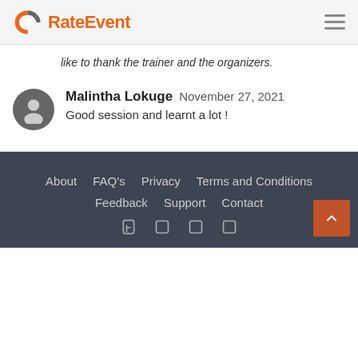RateEvent
like to thank the trainer and the organizers.
Malintha Lokuge November 27, 2021
Good session and learnt a lot !
About  FAQ's  Privacy  Terms and Conditions  Feedback  Support  Contact